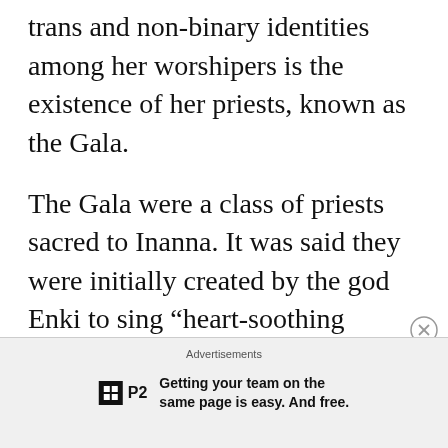trans and non-binary identities among her worshipers is the existence of her priests, known as the Gala.
The Gala were a class of priests sacred to Inanna. It was said they were initially created by the god Enki to sing “heart-soothing laments,” for the goddess, and they certainly did that. To begin with, one of their primary
Advertisements
Getting your team on the same page is easy. And free.